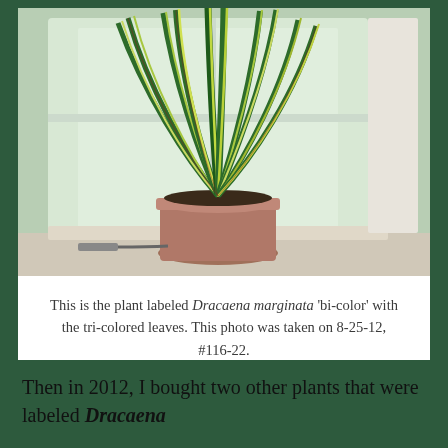[Figure (photo): A potted Dracaena marginata 'bi-color' plant with long striped green and cream leaves, sitting on a windowsill in a terracotta pot. Natural light comes through a frosted window behind it.]
This is the plant labeled Dracaena marginata 'bi-color' with the tri-colored leaves. This photo was taken on 8-25-12, #116-22.
Then in 2012, I bought two other plants that were labeled Dracaena